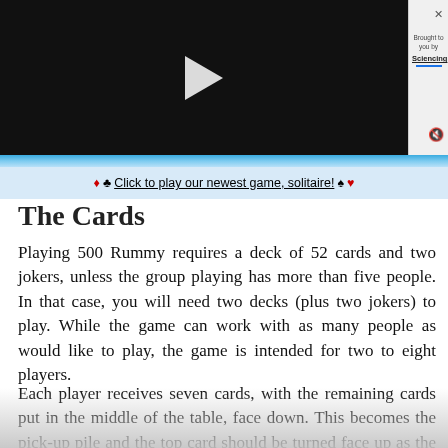[Figure (screenshot): Video player with black background and white play button triangle]
Brought to you by Sciencing
♦ ♣ Click to play our newest game, solitaire! ♠ ♥
The Cards
Playing 500 Rummy requires a deck of 52 cards and two jokers, unless the group playing has more than five people. In that case, you will need two decks (plus two jokers) to play. While the game can work with as many people as would like to play, the game is intended for two to eight players.
Each player receives seven cards, with the remaining cards put in the middle of the table, face down. This becomes the pick-up pile and the top card should be turned face up as the first